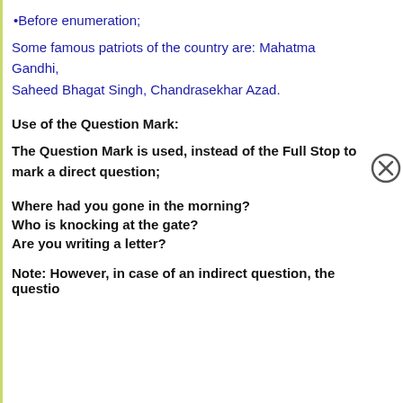•Before enumeration;
Some famous patriots of the country are: Mahatma Gandhi, Saheed Bhagat Singh, Chandrasekhar Azad.
Use of the Question Mark:
The Question Mark is used, instead of the Full Stop to mark a direct question;
Where had you gone in the morning?
Who is knocking at the gate?
Are you writing a letter?
Note: However, in case of an indirect question, the question